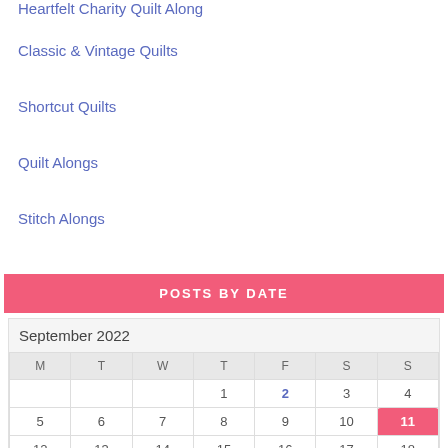Heartfelt Charity Quilt Along
Classic & Vintage Quilts
Shortcut Quilts
Quilt Alongs
Stitch Alongs
POSTS BY DATE
| M | T | W | T | F | S | S |
| --- | --- | --- | --- | --- | --- | --- |
|  |  |  | 1 | 2 | 3 | 4 |
| 5 | 6 | 7 | 8 | 9 | 10 | 11 |
| 12 | 13 | 14 | 15 | 16 | 17 | 18 |